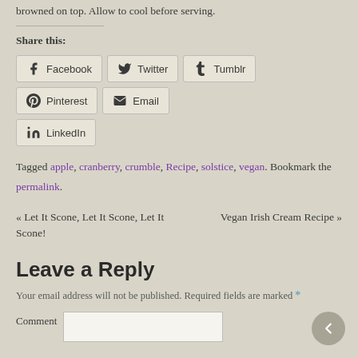browned on top. Allow to cool before serving.
Share this:
Facebook Twitter Tumblr Pinterest Email LinkedIn
Tagged apple, cranberry, crumble, Recipe, solstice, vegan. Bookmark the permalink.
« Let It Scone, Let It Scone, Let It Scone!
Vegan Irish Cream Recipe »
Leave a Reply
Your email address will not be published. Required fields are marked *
Comment